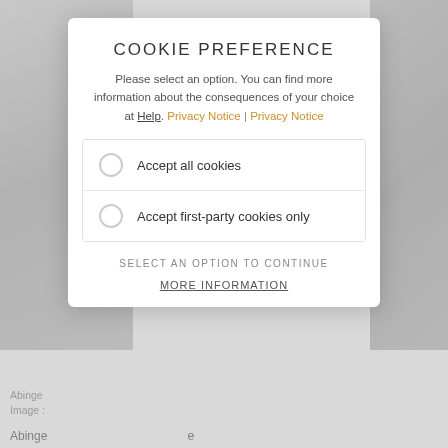[Figure (photo): Greyscale photograph on left side, partially visible behind modal]
[Figure (photo): Greyscale photograph on right side, partially visible behind modal]
COOKIE PREFERENCE
Please select an option. You can find more information about the consequences of your choice at Help. Privacy Notice | Privacy Notice
Accept all cookies
Accept first-party cookies only
SELECT AN OPTION TO CONTINUE
MORE INFORMATION
Abinge...
Abinge...morning...h inn, and Max Beerbohm's Manor House Cottage, are damaged.
Other Stories
[Figure (photo): Greyscale photograph at bottom of page]